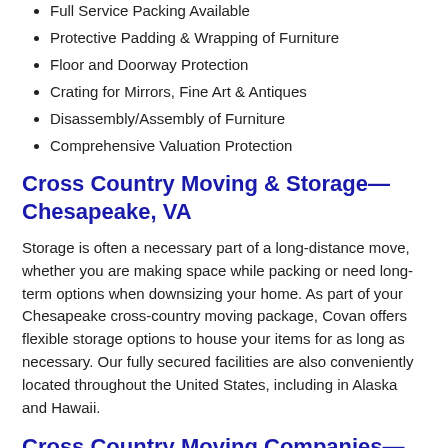Full Service Packing Available
Protective Padding & Wrapping of Furniture
Floor and Doorway Protection
Crating for Mirrors, Fine Art & Antiques
Disassembly/Assembly of Furniture
Comprehensive Valuation Protection
Cross Country Moving & Storage—Chesapeake, VA
Storage is often a necessary part of a long-distance move, whether you are making space while packing or need long-term options when downsizing your home. As part of your Chesapeake cross-country moving package, Covan offers flexible storage options to house your items for as long as necessary. Our fully secured facilities are also conveniently located throughout the United States, including in Alaska and Hawaii.
Cross Country Moving Companies—Chesapeake, VA
Moving involves more than just packing and transporting your